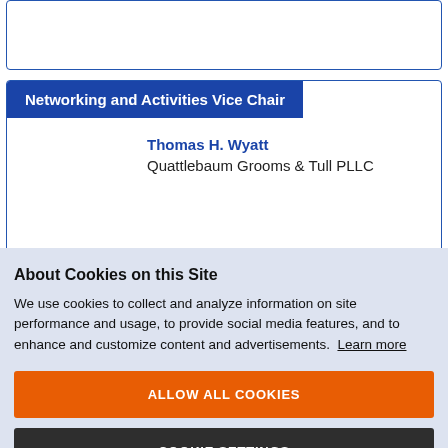Networking and Activities Vice Chair
Thomas H. Wyatt
Quattlebaum Grooms & Tull PLLC
About Cookies on this Site
We use cookies to collect and analyze information on site performance and usage, to provide social media features, and to enhance and customize content and advertisements. Learn more
ALLOW ALL COOKIES
COOKIE SETTINGS